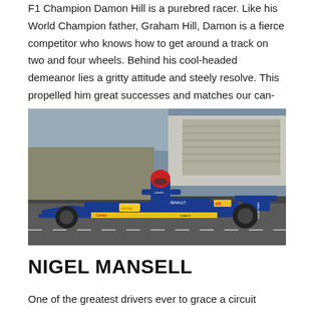F1 Champion Damon Hill is a purebred racer. Like his World Champion father, Graham Hill, Damon is a fierce competitor who knows how to get around a track on two and four wheels. Behind his cool-headed demeanor lies a gritty attitude and steely resolve. This propelled him great successes and matches our can-do attitude perfectly.
[Figure (photo): Photo of a Formula 1 driver in blue and yellow racing suit standing next to a Williams-Renault Canon Formula 1 car in the pit lane. The car has Canon, Renault, elf, and Labatt's sponsorship livery. The driver wears a red helmet.]
NIGEL MANSELL
One of the greatest drivers ever to grace a circuit